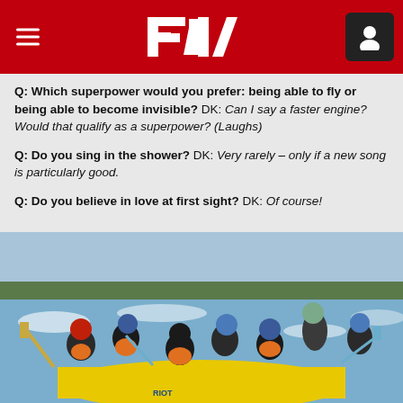F1 navigation header
Q: Which superpower would you prefer: being able to fly or being able to become invisible? DK: Can I say a faster engine? Would that qualify as a superpower? (Laughs)
Q: Do you sing in the shower? DK: Very rarely – only if a new song is particularly good.
Q: Do you believe in love at first sight? DK: Of course!
[Figure (photo): Group of people white water rafting in a yellow inflatable raft on a river, wearing helmets and life jackets, with paddles.]